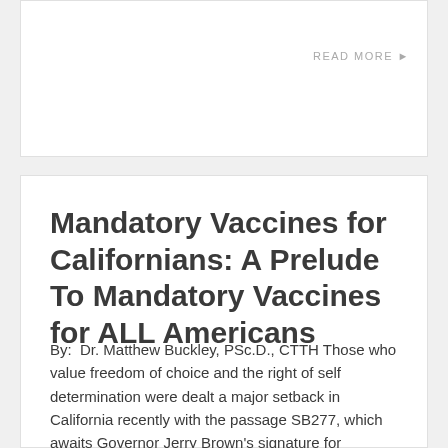READ MORE ▶
Mandatory Vaccines for Californians: A Prelude To Mandatory Vaccines for ALL Americans
By:  Dr. Matthew Buckley, PSc.D., CTTH Those who value freedom of choice and the right of self determination were dealt a major setback in California recently with the passage SB277, which awaits Governor Jerry Brown's signature for